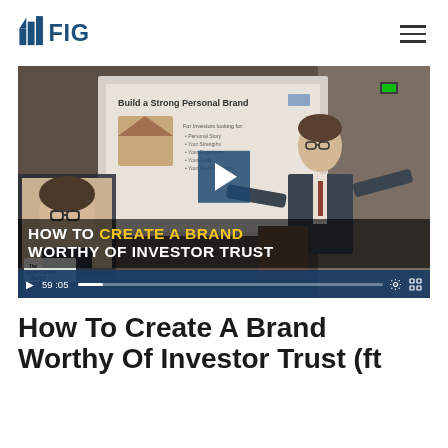[Figure (logo): FIG logo with building/bar chart icon in dark blue and bold FIG text]
[Figure (screenshot): Video thumbnail showing a man presenting in front of a screen displaying 'Build a Strong Personal Brand'. Overlay text reads 'HOW TO CREATE A BRAND WORTHY OF INVESTOR TRUST' with a play button. Duration shown as 59:05.]
How To Create A Brand Worthy Of Investor Trust (ft